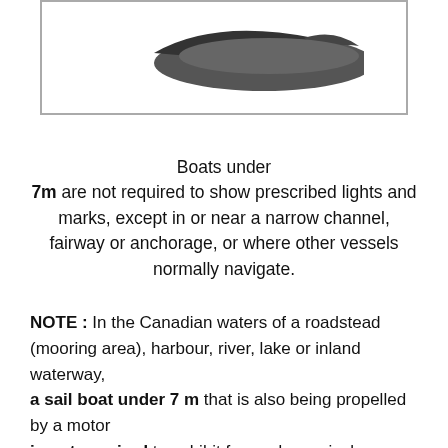[Figure (illustration): Partial view of a boat or vessel silhouette in gray/dark gray, shown at the top of the page inside a bordered box.]
Boats under 7m are not required to show prescribed lights and marks, except in or near a narrow channel, fairway or anchorage, or where other vessels normally navigate.
NOTE : In the Canadian waters of a roadstead (mooring area), harbour, river, lake or inland waterway, a sail boat under 7 m that is also being propelled by a motor is not required to exhibit forward a conical shape...